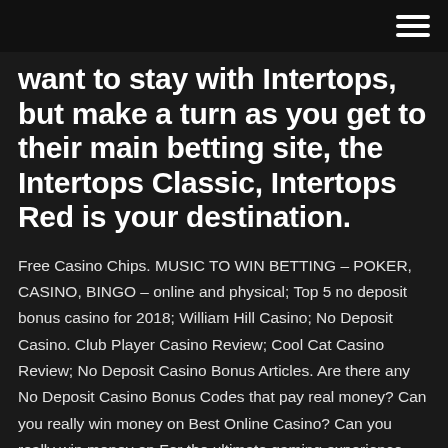want to stay with Intertops, but make a turn as you get to their main betting site, the Intertops Classic, Intertops Red is your destination.
Free Casino Chips. MUSIC TO WIN BETTING – POKER, CASINO, BINGO – online and physical; Top 5 no deposit bonus casino for 2018; William Hill Casino; No Deposit Casino. Club Player Casino Review; Cool Cat Casino Review; No Deposit Casino Bonus Articles. Are there any No Deposit Casino Bonus Codes that pay real money? Can you really win money on Best Online Casino? Can you really win money on For the ultimate gaming experience Intertops